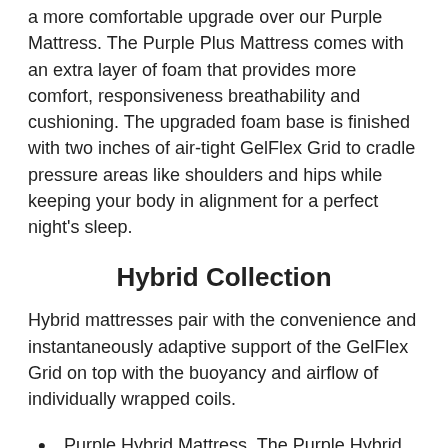a more comfortable upgrade over our Purple Mattress. The Purple Plus Mattress comes with an extra layer of foam that provides more comfort, responsiveness breathability and cushioning. The upgraded foam base is finished with two inches of air-tight GelFlex Grid to cradle pressure areas like shoulders and hips while keeping your body in alignment for a perfect night's sleep.
Hybrid Collection
Hybrid mattresses pair with the convenience and instantaneously adaptive support of the GelFlex Grid on top with the buoyancy and airflow of individually wrapped coils.
Purple Hybrid Mattress. The Purple Hybrid Mattress is a unique combination of a responsive support coil and